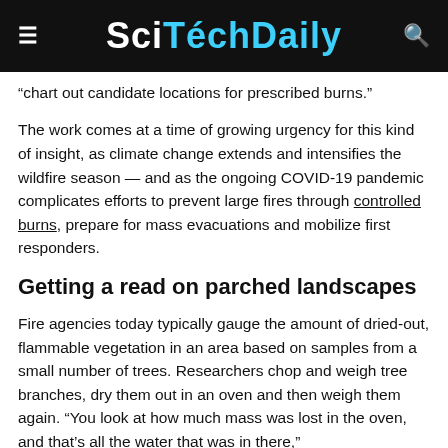SciTechDaily
“chart out candidate locations for prescribed burns.”
The work comes at a time of growing urgency for this kind of insight, as climate change extends and intensifies the wildfire season — and as the ongoing COVID-19 pandemic complicates efforts to prevent large fires through controlled burns, prepare for mass evacuations and mobilize first responders.
Getting a read on parched landscapes
Fire agencies today typically gauge the amount of dried-out, flammable vegetation in an area based on samples from a small number of trees. Researchers chop and weigh tree branches, dry them out in an oven and then weigh them again. “You look at how much mass was lost in the oven, and that’s all the water that was in there,”